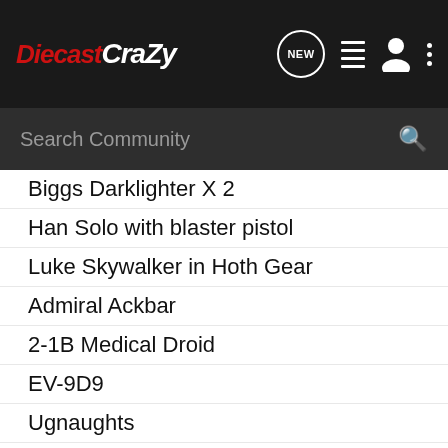[Figure (logo): DiecastCrazy website logo with navigation icons (NEW chat bubble, list icon, user icon, dots menu) on dark navbar]
[Figure (screenshot): Search Community search bar on dark background]
Biggs Darklighter X 2
Han Solo with blaster pistol
Luke Skywalker in Hoth Gear
Admiral Ackbar
2-1B Medical Droid
EV-9D9
Ugnaughts
Darth Vader w/ Lightsaber
Imperial Sentinel
Klaatu (vintage) $30 shipped
Zuckuss X 2
Captain Piett X 2
Endor Rebel Soldier X 3
Snow Trooper X 3
Emperor's Royal Guard X 4